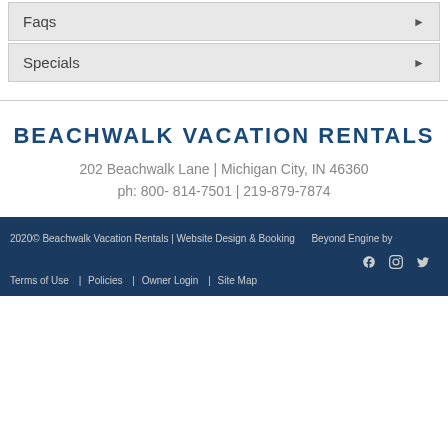Faqs
Specials
BEACHWALK VACATION RENTALS
202 Beachwalk Lane | Michigan City, IN 46360
ph: 800- 814-7501 | 219-879-7874
2020© Beachwalk Vacation Rentals | Website Design & Booking    Beyond Engine by
Terms of Use  |  Policies  |  Owner Login  |  Site Map